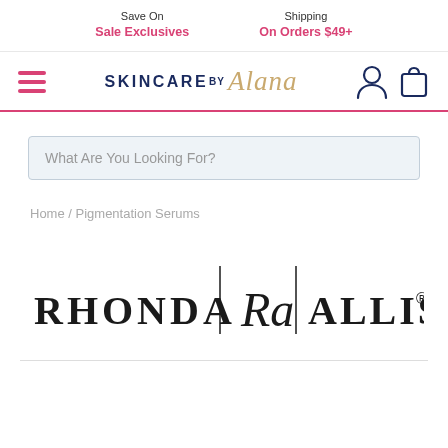Save On Sale Exclusives | Shipping On Orders $49+
[Figure (logo): Skincare by Alana logo with hamburger menu, user icon, and shopping bag icon]
What Are You Looking For?
Home / Pigmentation Serums
[Figure (logo): Rhonda Ra Allison brand logo with vertical dividers]